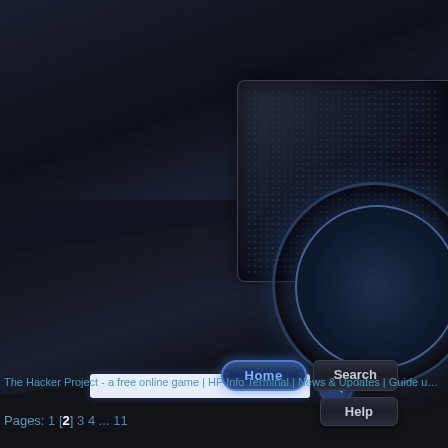[Figure (screenshot): Dark themed website UI with diagonal dark background panels, dotted speaker grille panel top right, circular chrome element bottom right, search input bar with blue magnifier button, navigation buttons (Home highlighted in blue, Search, Help), footer navigation links, and pagination.]
The Hacker Project - a free online game | HP Info Terminal | News & Updates | Guide update - Revel...
Pages: 1 [2] 3 4 ... 11